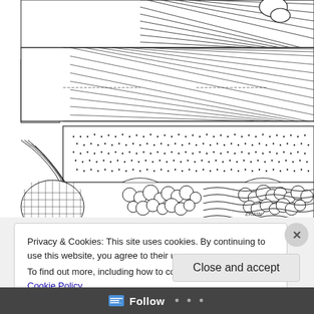[Figure (illustration): Black and white pen illustration showing architectural/decorative cross-section with diagonal hatching patterns at top, a dotted cloud-like middle band, and an organic lower section with circular stone-like shapes, flowing curved lines, and intricate cross-hatching. Artist signature 'ERWIN' visible.]
Privacy & Cookies: This site uses cookies. By continuing to use this website, you agree to their use.
To find out more, including how to control cookies, see here: Cookie Policy
Close and accept
Follow